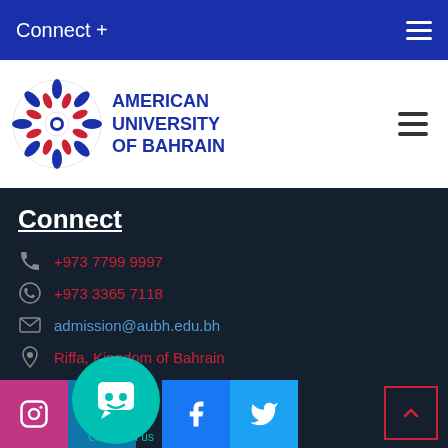Connect +
[Figure (logo): American University of Bahrain logo with decorative star/flower emblem in red, white and blue]
Connect
+973 7799 9997
+973 3365 7118
admission@aubh.edu.bh
Riffa, Kingdom of Bahrain
[Figure (infographic): Social media icons: Instagram (pink), LinkedIn (dark blue), Facebook (blue), Twitter (light blue); chatbot circle icon in teal with face emoji; Chat with us label; scroll-to-top button with up arrow]